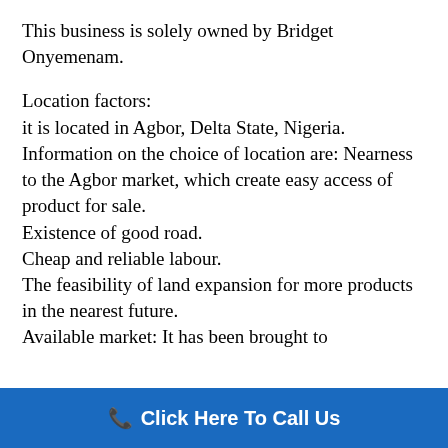This business is solely owned by Bridget Onyemenam.
Location factors:
it is located in Agbor, Delta State, Nigeria. Information on the choice of location are: Nearness to the Agbor market, which create easy access of product for sale.
Existence of good road.
Cheap and reliable labour.
The feasibility of land expansion for more products in the nearest future.
Available market: It has been brought to
Click Here To Call Us